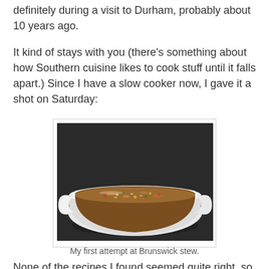definitely during a visit to Durham, probably about 10 years ago.
It kind of stays with you (there's something about how Southern cuisine likes to cook stuff until it falls apart.) Since I have a slow cooker now, I gave it a shot on Saturday:
[Figure (photo): A white ceramic bowl filled with Brunswick stew — a thick brownish broth with rice, corn, tomatoes, and mixed vegetables, photographed from above on a dark granite surface.]
My first attempt at Brunswick stew.
None of the recipes I found seemed quite right, so I ended up mashing a few of them together (primarily from About.com, Epicurious, someone named Amelia, and one…